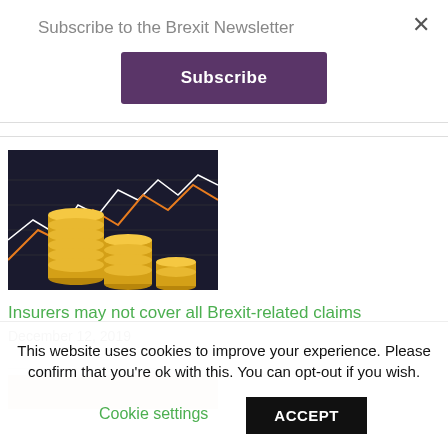Subscribe to the Brexit Newsletter
Subscribe
[Figure (photo): Stacked gold coins in front of a stock market chart with orange and white trend lines on a dark background]
Insurers may not cover all Brexit-related claims
December 12, 2019
[Figure (photo): Partial photo of a person, cropped at bottom of visible area]
This website uses cookies to improve your experience. Please confirm that you're ok with this. You can opt-out if you wish.
Cookie settings
ACCEPT